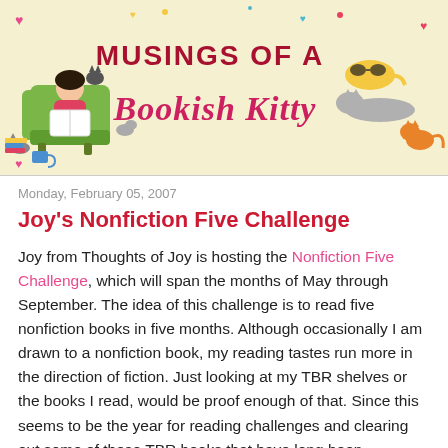[Figure (illustration): Blog header banner with cream/yellow background. Features illustrated characters: a girl reading in a green armchair surrounded by cats, various cute animal illustrations. Large decorative text reads 'MUSINGS OF A Bookish Kitty' in dark red/crimson and pink script fonts. Small heart and decorative elements scattered around.]
Monday, February 05, 2007
Joy's Nonfiction Five Challenge
Joy from Thoughts of Joy is hosting the Nonfiction Five Challenge, which will span the months of May through September. The idea of this challenge is to read five nonfiction books in five months. Although occasionally I am drawn to a nonfiction book, my reading tastes run more in the direction of fiction. Just looking at my TBR shelves or the books I read, would be proof enough of that. Since this seems to be the year for reading challenges and clearing out some of those TBR books that have long been collecting dust on the shelves, I decided to give the challenge a go. I